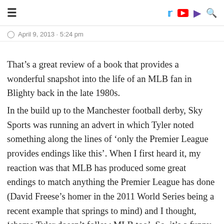≡  [twitter] [youtube] [twitch] [search]
⊙  April 9, 2013 · 5:24 pm
That's a great review of a book that provides a wonderful snapshot into the life of an MLB fan in Blighty back in the late 1980s.
In the build up to the Manchester football derby, Sky Sports was running an advert in which Tyler noted something along the lines of 'only the Premier League provides endings like this'. When I first heard it, my reaction was that MLB has produced some great endings to match anything the Premier League has done (David Freese's homer in the 2011 World Series being a recent example that springs to mind) and I thought, 'shame Tyler doesn't follow MLB too'. So, it's a funny coincidence that you mention Martin Tyler's Intro!